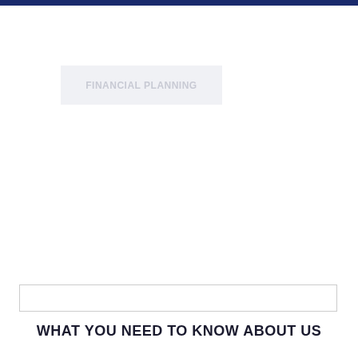[Figure (other): Light gray box with faint text reading FINANCIAL PLANNING]
[Figure (other): Empty input/search box with thin border]
WHAT YOU NEED TO KNOW ABOUT US